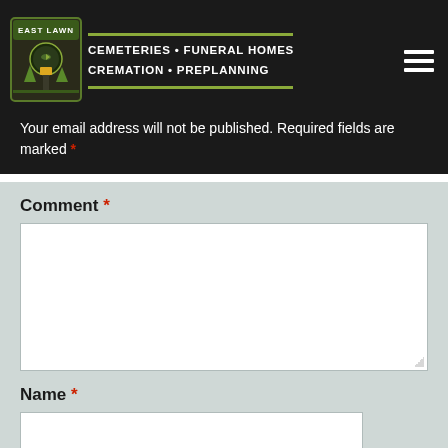East Lawn Cemeteries • Funeral Homes Cremation • Preplanning
Your email address will not be published. Required fields are marked *
Comment *
Name *